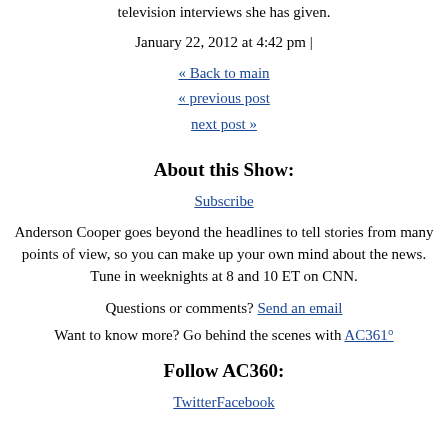television interviews she has given.
January 22, 2012 at 4:42 pm |
« Back to main
« previous post
next post »
About this Show:
Subscribe
Anderson Cooper goes beyond the headlines to tell stories from many points of view, so you can make up your own mind about the news. Tune in weeknights at 8 and 10 ET on CNN.
Questions or comments? Send an email
Want to know more? Go behind the scenes with AC361°
Follow AC360:
TwitterFacebook